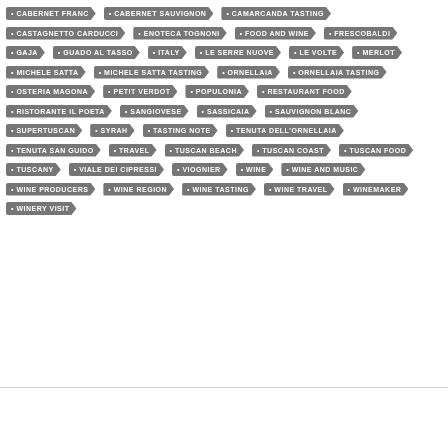CABERNET FRANC
CABERNET SAUVIGNON
CAMARCANDA TASTING
CASTAGNETTO CARDUCCI
ENOTECA TOGNONI
FOOD AND WINE
FRESCOBALDI
GAJA
GUADO AL TASSO
ITALY
LE SERRE NUOVE
LE VOLTE
MERLOT
MICHELE SATTA
MICHELE SATTA TASTING
ORNELLAIA
ORNELLAIA TASTING
OSTERIA MAGONA
PETIT VERDOT
POPULONIA
RESTAURANT FOOD
RISTORANTE IL POETA
SANGIOVESE
SASSICAIA
SAUVIGNON BLANC
SUPERTUSCAN
SYRAH
TASTING NOTE
TENUTA DELL'ORNELLAIA
TENUTA SAN GUIDO
TRAVEL
TUSCAN BEACH
TUSCAN COAST
TUSCAN FOOD
TUSCANY
VIALE DEI CIPRESSI
VIOGNIER
WINE
WINE AND MUSIC
WINE PRODUCERS
WINE REGION
WINE TASTING
WINE TRAVEL
WINEMAKER
WINERY VISIT